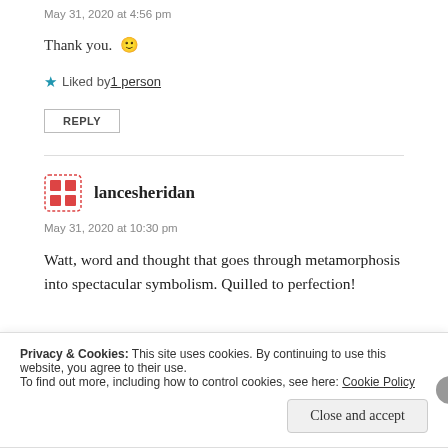May 31, 2020 at 4:56 pm
Thank you. 🙂
★ Liked by 1 person
REPLY
lancesheridan
May 31, 2020 at 10:30 pm
Watt, word and thought that goes through metamorphosis into spectacular symbolism. Quilled to perfection!
Privacy & Cookies: This site uses cookies. By continuing to use this website, you agree to their use. To find out more, including how to control cookies, see here: Cookie Policy
Close and accept